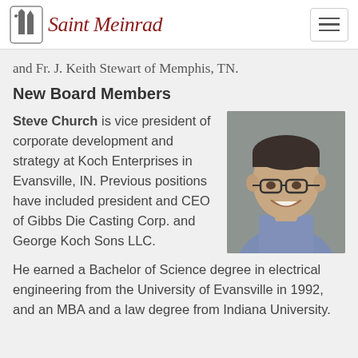Saint Meinrad
and Fr. J. Keith Stewart of Memphis, TN.
New Board Members
Steve Church is vice president of corporate development and strategy at Koch Enterprises in Evansville, IN. Previous positions have included president and CEO of Gibbs Die Casting Corp. and George Koch Sons LLC.
[Figure (photo): Headshot photo of Steve Church, a man wearing glasses and a blue patterned shirt, smiling, against a gray background.]
He earned a Bachelor of Science degree in electrical engineering from the University of Evansville in 1992, and an MBA and a law degree from Indiana University.